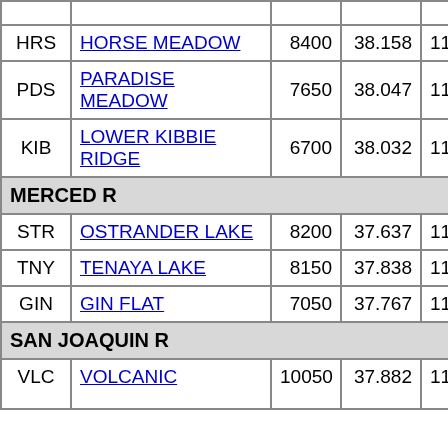| Code | Name | Elev | Lat | Lon | ... |
| --- | --- | --- | --- | --- | --- |
| HRS | HORSE MEADOW | 8400 | 38.158 | 119.662 | 48.6 |
| PDS | PARADISE MEADOW | 7650 | 38.047 | 119.670 | 41.3 |
| KIB | LOWER KIBBIE RIDGE | 6700 | 38.032 | 119.877 | 27.4 |
| MERCED R |  |  |  |  |  |
| STR | OSTRANDER LAKE | 8200 | 37.637 | 119.550 | 34.8 |
| TNY | TENAYA LAKE | 8150 | 37.838 | 119.448 | 33.2 |
| GIN | GIN FLAT | 7050 | 37.767 | 119.773 | 34.2 |
| SAN JOAQUIN R |  |  |  |  |  |
| VLC | VOLCANIC | 10050 | 37.882 | 119.882 | 28 |